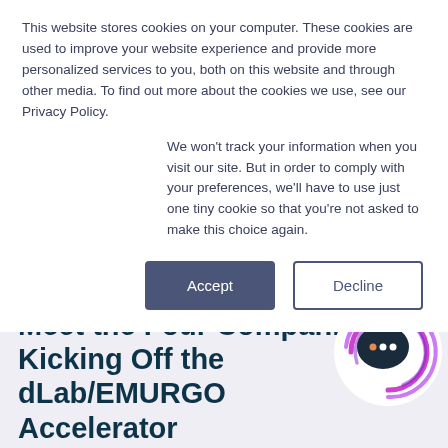This website stores cookies on your computer. These cookies are used to improve your website experience and provide more personalized services to you, both on this website and through other media. To find out more about the cookies we use, see our Privacy Policy.
We won't track your information when you visit our site. But in order to comply with your preferences, we'll have to use just one tiny cookie so that you're not asked to make this choice again.
Accept
Decline
Meet the Four Companies Kicking Off the dLab/EMURGO Accelerator Program
[Figure (illustration): Chat bubble icon with three dots inside, surrounded by purple/magenta arc lines, on a white circular background]